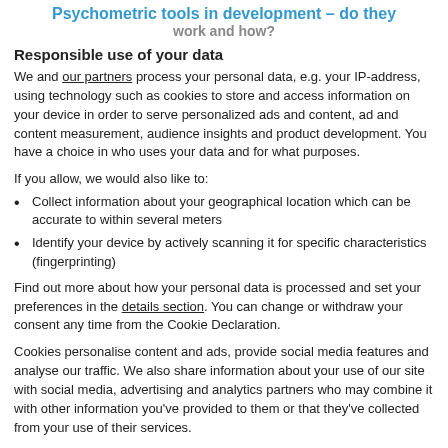Psychometric tools in development – do they work and how?
Responsible use of your data
We and our partners process your personal data, e.g. your IP-address, using technology such as cookies to store and access information on your device in order to serve personalized ads and content, ad and content measurement, audience insights and product development. You have a choice in who uses your data and for what purposes.
If you allow, we would also like to:
Collect information about your geographical location which can be accurate to within several meters
Identify your device by actively scanning it for specific characteristics (fingerprinting)
Find out more about how your personal data is processed and set your preferences in the details section. You can change or withdraw your consent any time from the Cookie Declaration.
Cookies personalise content and ads, provide social media features and analyse our traffic. We also share information about your use of our site with social media, advertising and analytics partners who may combine it with other information you've provided to them or that they've collected from your use of their services.
Allow selection | Allow all cookies
Necessary  Preferences  Statistics  Marketing  Show details